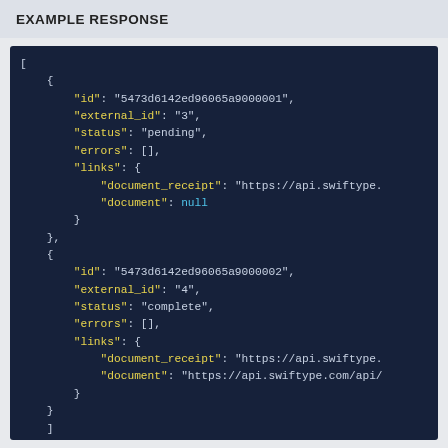EXAMPLE RESPONSE
[
    {
        "id": "5473d6142ed96065a9000001",
        "external_id": "3",
        "status": "pending",
        "errors": [],
        "links": {
            "document_receipt": "https://api.swiftype.
            "document": null
        }
    },
    {
        "id": "5473d6142ed96065a9000002",
        "external_id": "4",
        "status": "complete",
        "errors": [],
        "links": {
            "document_receipt": "https://api.swiftype.
            "document": "https://api.swiftype.com/api/
        }
    }
]